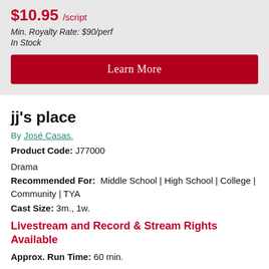$10.95 /script
Min. Royalty Rate: $90/perf
In Stock
Learn More
jj's place
By José Casas.
Product Code: J77000
Drama
Recommended For:  Middle School | High School | College | Community | TYA
Cast Size: 3m., 1w.
Livestream and Record & Stream Rights Available
Approx. Run Time: 60 min.
Mario is a hardworking, struggling auto mechanic in East LA who is left to raise his son, JJ, after the passing of his mother. In order to honor her memory and cope with his lack of connection with his